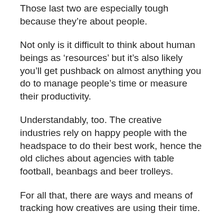Those last two are especially tough because they're about people.
Not only is it difficult to think about human beings as 'resources' but it's also likely you'll get pushback on almost anything you do to manage people's time or measure their productivity.
Understandably, too. The creative industries rely on happy people with the headspace to do their best work, hence the old cliches about agencies with table football, beanbags and beer trolleys.
For all that, there are ways and means of tracking how creatives are using their time.